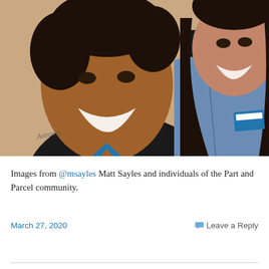[Figure (photo): Close-up selfie photo of two smiling women wearing black shirts with a blue logo/name tag. The woman on the left has short hair and a tattoo on her collarbone. The woman on the right has long curly dark hair and is wearing a denim jacket over her black shirt.]
Images from @msayles Matt Sayles and individuals of the Part and Parcel community.
March 27, 2020
Leave a Reply